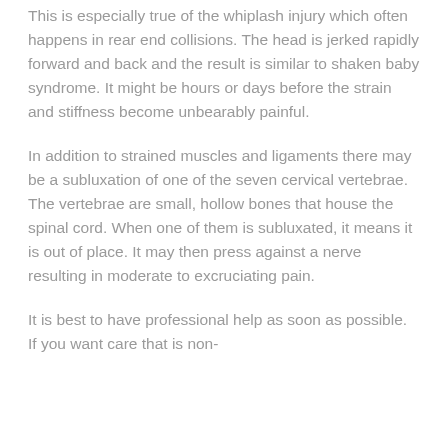This is especially true of the whiplash injury which often happens in rear end collisions. The head is jerked rapidly forward and back and the result is similar to shaken baby syndrome. It might be hours or days before the strain and stiffness become unbearably painful.
In addition to strained muscles and ligaments there may be a subluxation of one of the seven cervical vertebrae. The vertebrae are small, hollow bones that house the spinal cord. When one of them is subluxated, it means it is out of place. It may then press against a nerve resulting in moderate to excruciating pain.
It is best to have professional help as soon as possible. If you want care that is non-